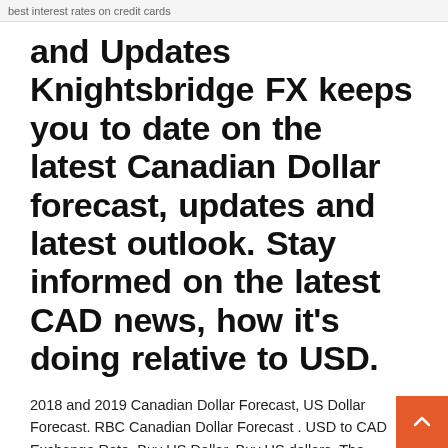best interest rates on credit cards
and Updates Knightsbridge FX keeps you to date on the latest Canadian Dollar forecast, updates and latest outlook. Stay informed on the latest CAD news, how it's doing relative to USD.
2018 and 2019 Canadian Dollar Forecast, US Dollar Forecast. RBC Canadian Dollar Forecast . USD to CAD Exchange Rate. Buy US Dollar. Buy US dollars. The information contained herein is based on data obtained from sources believed to be reliable. However, we have not verified such information, and we do not make any representations as to its accuracy. For